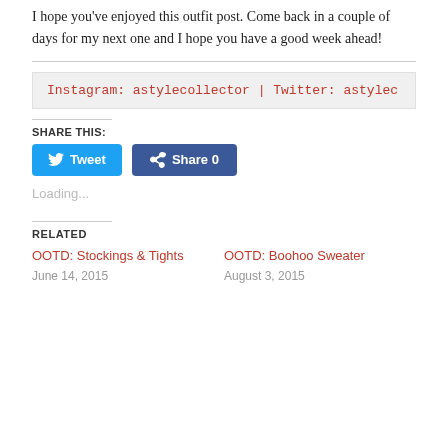I hope you've enjoyed this outfit post. Come back in a couple of days for my next one and I hope you have a good week ahead!
Instagram: astylecollector | Twitter: astylec
SHARE THIS:
Tweet  Share 0
Loading...
RELATED
OOTD: Stockings & Tights
June 14, 2015
OOTD: Boohoo Sweater
August 3, 2015